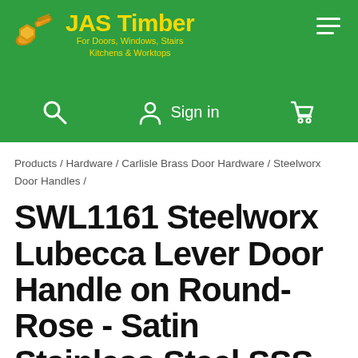[Figure (logo): JAS Timber logo with golden screw/fitting icon and yellow text reading 'JAS Timber / For Doors, Windows, Stairs / Kitchens & Worktops' on green background]
Sign in
Products / Hardware / Carlisle Brass Door Hardware / Steelworx Door Handles /
SWL1161 Steelworx Lubecca Lever Door Handle on Round-Rose - Satin Stainless Steel SSS